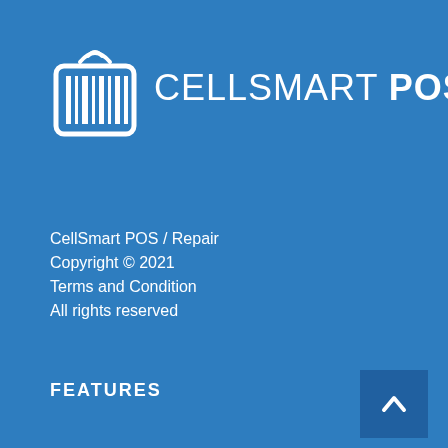[Figure (logo): CellSmart POS logo with barcode scanner icon and wifi signal, white on blue background]
CellSmart POS / Repair
Copyright © 2021
Terms and Condition
All rights reserved
FEATURES
Employee Motivation
Sale Alert
Bill Payment Integration
Promotions
Expense